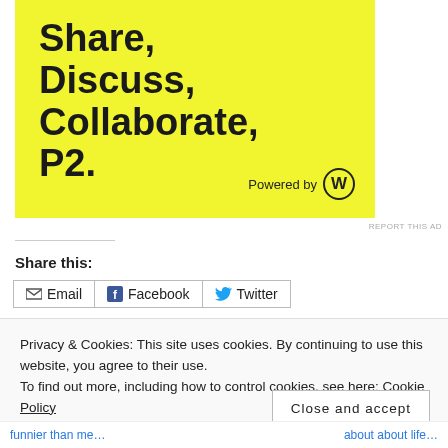[Figure (illustration): Yellow advertisement banner with bold black text reading 'Share, Discuss, Collaborate, P2.' and 'Powered by WordPress' logo at the bottom right.]
REPORT THIS AD
Share this:
Email   Facebook   Twitter
Privacy & Cookies: This site uses cookies. By continuing to use this website, you agree to their use.
To find out more, including how to control cookies, see here: Cookie Policy
Close and accept
funnier than me…   about about life…